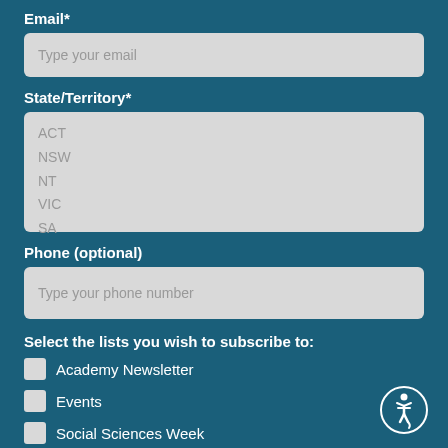Email*
Type your email
State/Territory*
ACT
NSW
NT
VIC
SA
Phone (optional)
Type your phone number
Select the lists you wish to subscribe to:
Academy Newsletter
Events
Social Sciences Week
Seriously Social Newsletter